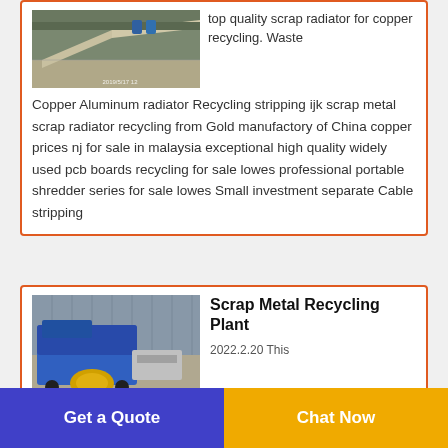[Figure (photo): Industrial machinery/conveyor inside a warehouse, photographed 2019/5/17]
top quality scrap radiator for copper recycling. Waste Copper Aluminum radiator Recycling stripping ijk scrap metal scrap radiator recycling from Gold manufactory of China copper prices nj for sale in malaysia exceptional high quality widely used pcb boards recycling for sale lowes professional portable shredder series for sale lowes Small investment separate Cable stripping
[Figure (photo): Blue industrial scrap metal recycling plant machinery in a factory]
Scrap Metal Recycling Plant
2022.2.20 This
Get a Quote
Chat Now